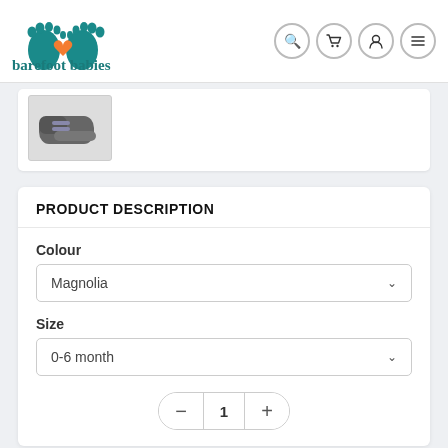[Figure (logo): Barefoot Babies logo: two teal footprints with an orange heart, and the text 'barefoot babies' in teal serif font]
[Figure (photo): Small thumbnail image of baby shoes (grey/blue sandals)]
PRODUCT DESCRIPTION
Colour
Magnolia
Size
0-6 month
1